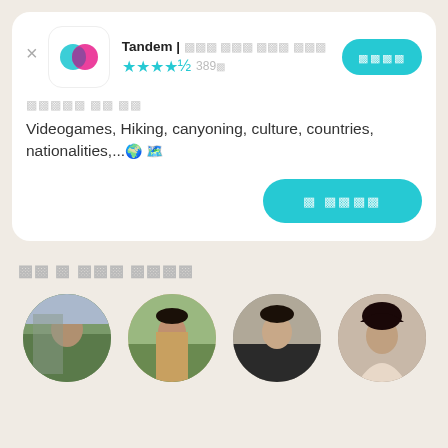Tandem | 언어 교환 파트너 찾기
★★★★½ 389개
관심사 및 취미
Videogames, Hiking, canyoning, culture, countries, nationalities,...🌍 🗺️
글 보내기
나 와 비슷한 파트너들
[Figure (photo): Circular profile photo 1 - person near mosque/city scene]
[Figure (photo): Circular profile photo 2 - woman with sunglasses outdoors]
[Figure (photo): Circular profile photo 3 - young person in dark jacket]
[Figure (photo): Circular profile photo 4 - woman with dark hair]